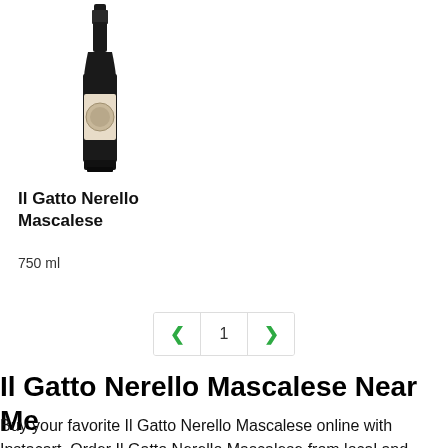[Figure (photo): A dark wine bottle (Il Gatto Nerello Mascalese) with a label, shown upright on a white background]
Il Gatto Nerello Mascalese
750 ml
< 1 >
Il Gatto Nerello Mascalese Near Me
Buy your favorite Il Gatto Nerello Mascalese online with Instacart. Order Il Gatto Nerello Mascalese from local and national retailers near you and enjoy on-demand, contactless delivery or pickup within 2 hours.